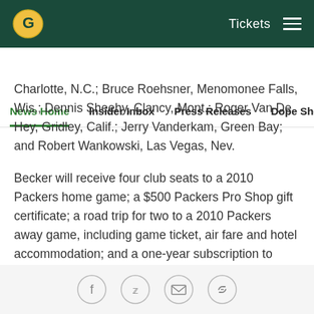Green Bay Packers website header with logo, Tickets link, and hamburger menu
News Home | Insider Inbox | Press Releases | Dope Sheet | Game...
Charlotte, N.C.; Bruce Roehsner, Menomonee Falls, Wis.; Dennis Sheehy, Clancy, Mont.; Roger Van De Hey, Gridley, Calif.; Jerry Vanderkam, Green Bay; and Robert Wankowski, Las Vegas, Nev.
Becker will receive four club seats to a 2010 Packers home game; a $500 Packers Pro Shop gift certificate; a road trip for two to a 2010 Packers away game, including game ticket, air fare and hotel accommodation; and a one-year subscription to Packer Plus and Packer Insider.
The Green Bay Packers established the Packers FAN